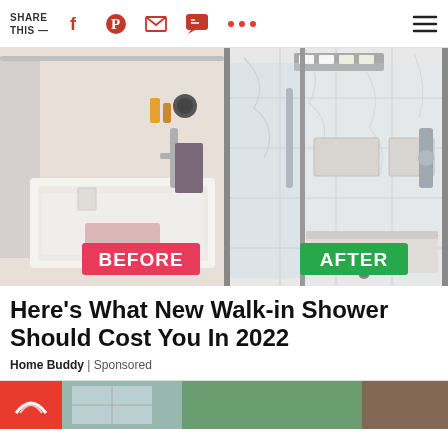SHARE THIS —
[Figure (photo): Before and after bathroom renovation photos side by side. Left photo shows an old bathtub with shower curtain labeled BEFORE in pink/red. Right photo shows a new marble walk-in shower labeled AFTER in green.]
Here's What New Walk-in Shower Should Cost You In 2022
Home Buddy | Sponsored
[Figure (photo): Partial view of another article preview at the bottom with a red section showing a rainbow/NBC logo on the left.]